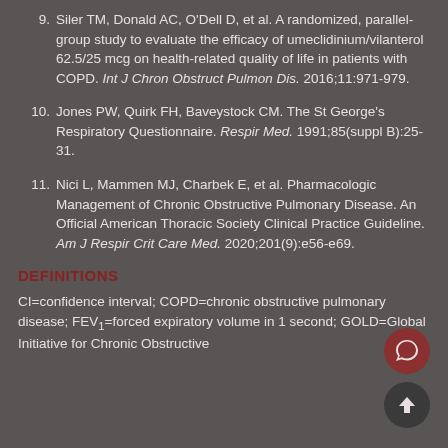9. Siler TM, Donald AC, O'Dell D, et al. A randomized, parallel-group study to evaluate the efficacy of umeclidinium/vilanterol 62.5/25 mcg on health-related quality of life in patients with COPD. Int J Chron Obstruct Pulmon Dis. 2016;11:971-979.
10. Jones PW, Quirk FH, Baveystock CM. The St George's Respiratory Questionnaire. Respir Med. 1991;85(suppl B):25-31.
11. Nici L, Mammen MJ, Charbek E, et al. Pharmacologic Management of Chronic Obstructive Pulmonary Disease. An Official American Thoracic Society Clinical Practice Guideline. Am J Respir Crit Care Med. 2020;201(9):e56-e69.
DEFINITIONS
CI=confidence interval; COPD=chronic obstructive pulmonary disease; FEV1=forced expiratory volume in 1 second; GOLD=Global Initiative for Chronic Obstructive